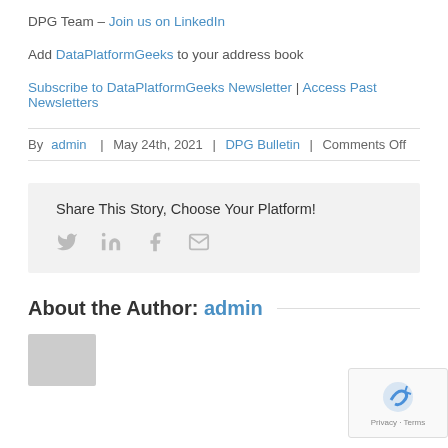DPG Team – Join us on LinkedIn
Add DataPlatformGeeks to your address book
Subscribe to DataPlatformGeeks Newsletter | Access Past Newsletters
By admin | May 24th, 2021 | DPG Bulletin | Comments Off
Share This Story, Choose Your Platform!
[Figure (infographic): Social share icons: Twitter, LinkedIn, Facebook, Email]
About the Author: admin
[Figure (other): reCAPTCHA privacy badge with Privacy and Terms text]